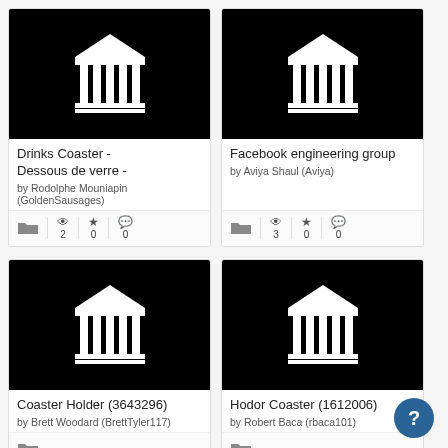[Figure (screenshot): Grid of 4 product cards showing 3D printing models on Thingiverse-style platform. Each card has a black thumbnail with a Greek temple/columns icon, a title, author, and stats (views, favorites, comments).]
Drinks Coaster - Dessous de verre -
by Rodolphe Mouniapin (GoldenSausages)
2 views, 0 favorites, 0 comments
Facebook engineering group
by Aviya Shaul (Aviya)
3 views, 0 favorites, 0 comments
Coaster Holder (3643296)
by Brett Woodard (BrettTyler117)
Hodor Coaster (1612006)
by Robert Baca (rbaca101)